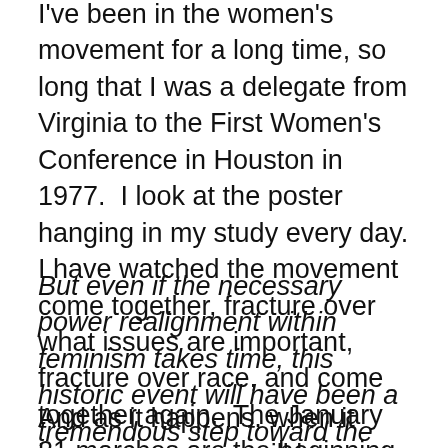I've been in the women's movement for a long time, so long that I was a delegate from Virginia to the First Women's Conference in Houston in 1977.  I look at the poster hanging in my study every day.  I have watched the movement come together, fracture over what issues are important, fracture over race, and come together again.  The January 21 marches are the beginning of another start.  This time WILL be different, I can feel it.
But even if the necessary power realignment within feminism takes time, this historic event will have been a tremendous step toward the reimagining of a women's movement as a web of varied but interconnected interests and missions.
And as it happens, when it happens, women will be leading the way into the progressive future.  Women will